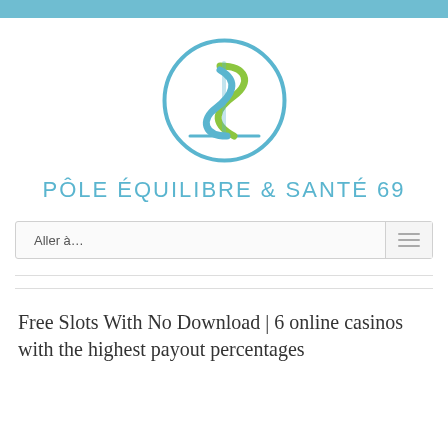[Figure (logo): Pôle Équilibre & Santé 69 logo: a circular blue outline containing intertwined green and blue stylized letter forms resembling a caduceus or S-shape, with a green S-curve and blue shape inside.]
PÔLE ÉQUILIBRE & SANTÉ 69
Aller à…
Free Slots With No Download | 6 online casinos with the highest payout percentages